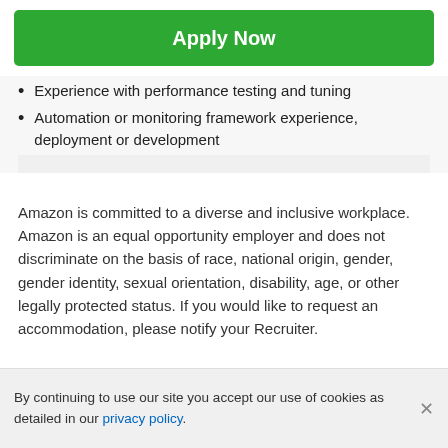Apply Now
Experience with performance testing and tuning
Automation or monitoring framework experience, deployment or development
Amazon is committed to a diverse and inclusive workplace. Amazon is an equal opportunity employer and does not discriminate on the basis of race, national origin, gender, gender identity, sexual orientation, disability, age, or other legally protected status. If you would like to request an accommodation, please notify your Recruiter.
By continuing to use our site you accept our use of cookies as detailed in our privacy policy.